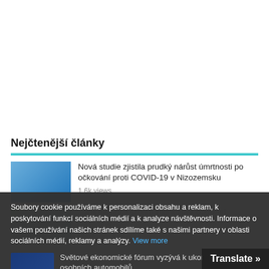Nejčtenější články
Nová studie zjistila prudký nárůst úmrtnosti po očkování proti COVID-19 v Nizozemsku
1.6k views
[partially visible] ...ami měsícich silnější imunitu než očkovaní
1.2k views
Světové ekonomické fórum vyzývá k ukončení vlastnictví osobních automobilů
1.2k views
Proč byla provedena razie v sídle by...
Soubory cookie používáme k personalizaci obsahu a reklam, k poskytování funkcí sociálních médií a k analyze návštěvnosti. Informace o vašem používání našich stránek sdílíme také s našimi partnery v oblasti sociálních médií, reklamy a analýzy. View more
Cookies settings   ✓ Přijmout
Translate »